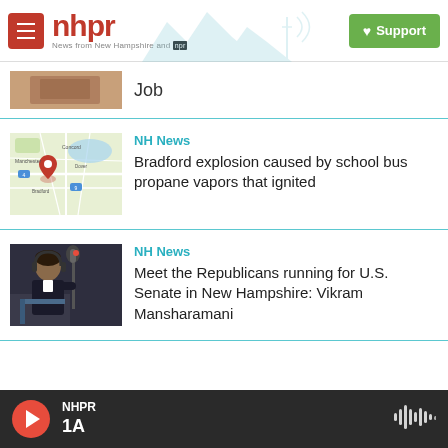nhpr — News from New Hampshire and NPR
Job
[Figure (photo): Thumbnail image of a person, partially visible at top]
NH News
Bradford explosion caused by school bus propane vapors that ignited
[Figure (map): Google Maps thumbnail showing New Hampshire with a red location pin]
NH News
Meet the Republicans running for U.S. Senate in New Hampshire: Vikram Mansharamani
[Figure (photo): Photo of Vikram Mansharamani sitting at a microphone in a radio studio wearing headphones]
NHPR 1A